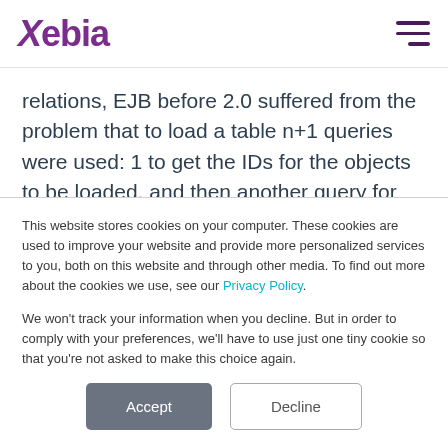Xebia
relations, EJB before 2.0 suffered from the problem that to load a table n+1 queries were used: 1 to get the IDs for the objects to be loaded, and then another query for each of those objects to load the data. Of
This website stores cookies on your computer. These cookies are used to improve your website and provide more personalized services to you, both on this website and through other media. To find out more about the cookies we use, see our Privacy Policy.

We won't track your information when you decline. But in order to comply with your preferences, we'll have to use just one tiny cookie so that you're not asked to make this choice again.